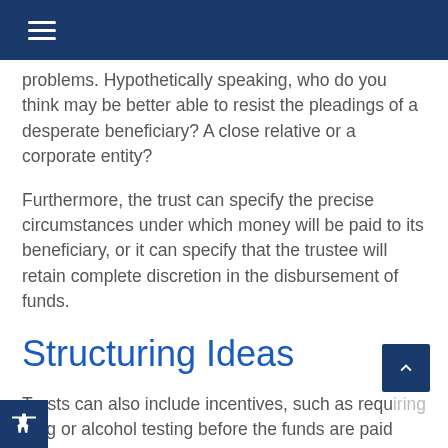problems. Hypothetically speaking, who do you think may be better able to resist the pleadings of a desperate beneficiary? A close relative or a corporate entity?
Furthermore, the trust can specify the precise circumstances under which money will be paid to its beneficiary, or it can specify that the trustee will retain complete discretion in the disbursement of funds.
Structuring Ideas
Trusts can also include incentives, such as requiring drug or alcohol testing before the funds are paid out,